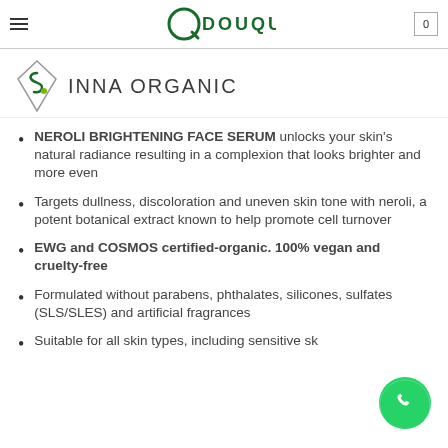DOUQU — 0
[Figure (logo): Inna Organic logo with diamond shape and stylized S leaf mark, followed by INNA ORGANIC text]
NEROLI BRIGHTENING FACE SERUM unlocks your skin's natural radiance resulting in a complexion that looks brighter and more even
Targets dullness, discoloration and uneven skin tone with neroli, a potent botanical extract known to help promote cell turnover
EWG and COSMOS certified-organic. 100% vegan and cruelty-free
Formulated without parabens, phthalates, silicones, sulfates (SLS/SLES) and artificial fragrances
Suitable for all skin types, including sensitive sk…
[Figure (illustration): WhatsApp green phone icon bubble in bottom right corner]